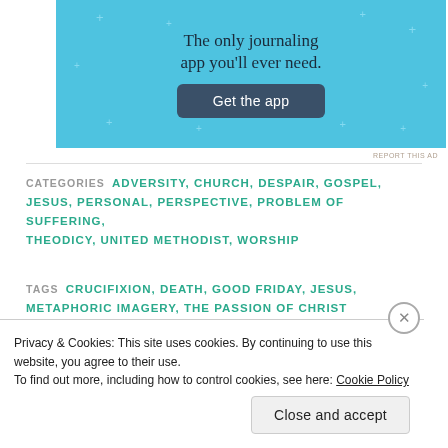[Figure (screenshot): Advertisement banner with sky-blue background, tagline 'The only journaling app you'll ever need.' and a dark 'Get the app' button]
REPORT THIS AD
CATEGORIES  ADVERSITY, CHURCH, DESPAIR, GOSPEL, JESUS, PERSONAL, PERSPECTIVE, PROBLEM OF SUFFERING, THEODICY, UNITED METHODIST, WORSHIP
TAGS  CRUCIFIXION, DEATH, GOOD FRIDAY, JESUS, METAPHORIC IMAGERY, THE PASSION OF CHRIST
Privacy & Cookies: This site uses cookies. By continuing to use this website, you agree to their use. To find out more, including how to control cookies, see here: Cookie Policy
Close and accept